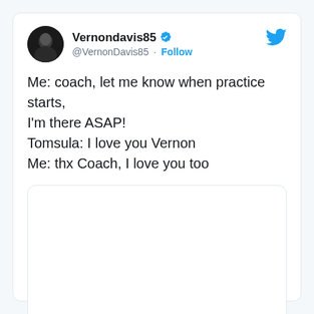[Figure (screenshot): Twitter/X profile avatar of Vernondavis85 — circular photo of a man with dark skin against dark background]
Vernondavis85 ✓ @VernonDavis85 · Follow
[Figure (logo): Twitter bird logo in blue, top right of tweet card]
Me: coach, let me know when practice starts, I'm there ASAP!
Tomsula: I love you Vernon
Me: thx Coach, I love you too
[Figure (photo): Empty white image placeholder box with rounded corners and light border]